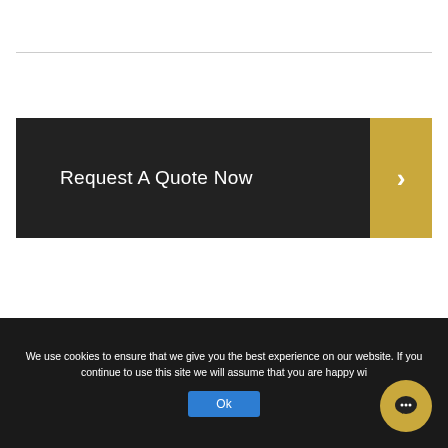[Figure (other): Call-to-action button banner: dark background left section with text 'Request A Quote Now' and gold arrow chevron on right side]
We use cookies to ensure that we give you the best experience on our website. If you continue to use this site we will assume that you are happy wi...
Ok